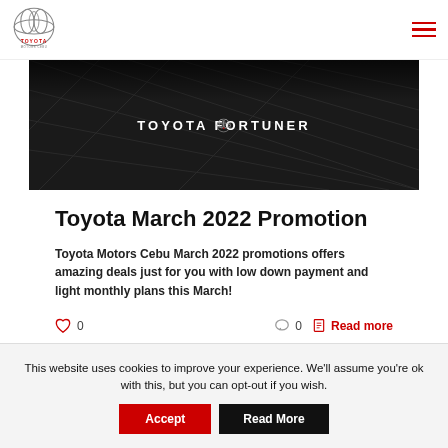Toyota Motors Cebu
[Figure (photo): Toyota Fortuner promotional banner image with dark background and Toyota logo and text 'TOYOTA FORTUNER']
Toyota March 2022 Promotion
Toyota Motors Cebu March 2022 promotions offers amazing deals just for you with low down payment and light monthly plans this March!
0 likes  0 comments  Read more
This website uses cookies to improve your experience. We'll assume you're ok with this, but you can opt-out if you wish. Accept  Read More